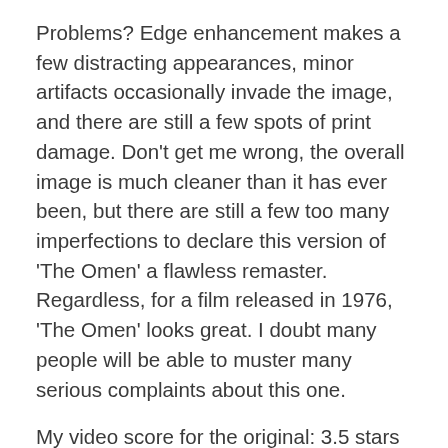Problems? Edge enhancement makes a few distracting appearances, minor artifacts occasionally invade the image, and there are still a few spots of print damage. Don't get me wrong, the overall image is much cleaner than it has ever been, but there are still a few too many imperfections to declare this version of 'The Omen' a flawless remaster. Regardless, for a film released in 1976, 'The Omen' looks great. I doubt many people will be able to muster many serious complaints about this one.
My video score for the original: 3.5 stars (out of 5)
Damien: The Omen II
On the flipside, 'Damien' features the most problematic visuals of the bunch. Sure, most of the